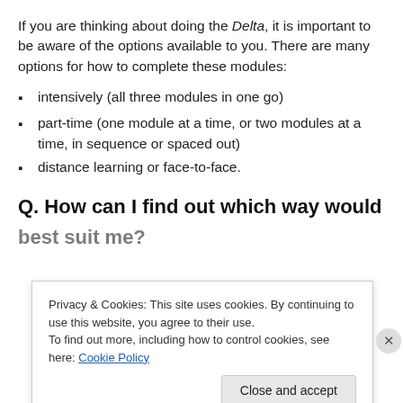If you are thinking about doing the Delta, it is important to be aware of the options available to you. There are many options for how to complete these modules:
intensively (all three modules in one go)
part-time (one module at a time, or two modules at a time, in sequence or spaced out)
distance learning or face-to-face.
Q. How can I find out which way would
best suit me?
Privacy & Cookies: This site uses cookies. By continuing to use this website, you agree to their use.
To find out more, including how to control cookies, see here: Cookie Policy
Close and accept